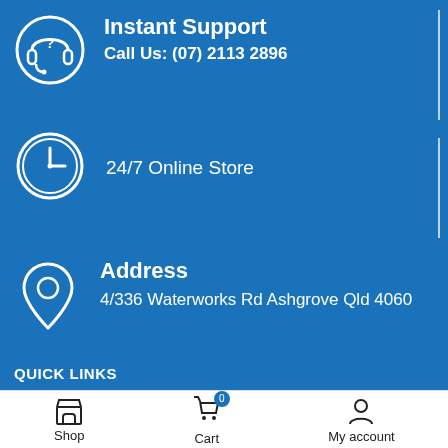Instant Support
Call Us: (07) 2113 2896
24/7 Online Store
Address
4/336 Waterworks Rd Ashgrove Qld 4060
QUICK LINKS
About Us
Contact Us
Our Mission
Shop  Cart  My account